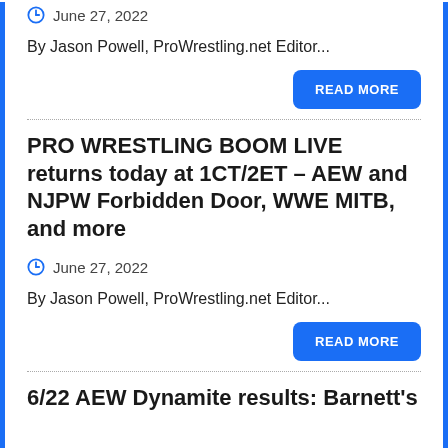June 27, 2022
By Jason Powell, ProWrestling.net Editor...
READ MORE
PRO WRESTLING BOOM LIVE returns today at 1CT/2ET – AEW and NJPW Forbidden Door, WWE MITB, and more
June 27, 2022
By Jason Powell, ProWrestling.net Editor...
READ MORE
6/22 AEW Dynamite results: Barnett's